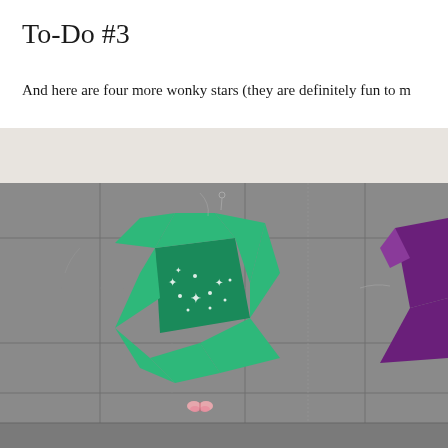To-Do #3
And here are four more wonky stars (they are definitely fun to m
[Figure (photo): A quilt in progress laid flat showing a wonky star quilt block in teal/green fabric with a starry pattern, set on a gray background fabric arranged in a 3x3 grid pattern. A partially visible purple star block appears at the right edge. A small pink butterfly pin is visible near the bottom center.]